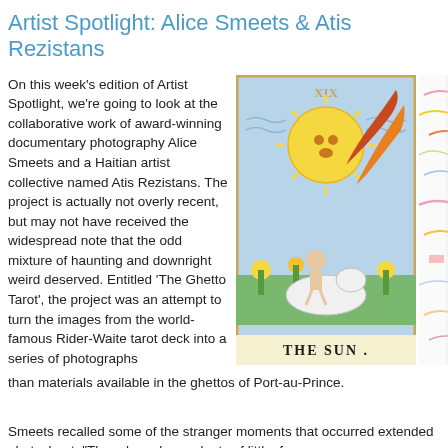Artist Spotlight: Alice Smeets & Atis Rezistans
On this week's edition of Artist Spotlight, we're going to look at the collaborative work of award-winning documentary photography Alice Smeets and a Haitian artist collective named Atis Rezistans. The project is actually not overly recent, but may not have received the widespread note that the odd mixture of haunting and downright weird deserved. Entitled 'The Ghetto Tarot', the project was an attempt to turn the images from the world-famous Rider-Waite tarot deck into a series of photographs than materials available in the ghettos of Port-au-Prince.
[Figure (photo): Tarot card 'The Sun' (XIX) from the Rider-Waite deck showing a large sun with a face, a naked child riding a white horse, sunflowers, and the label 'THE SUN.' at the bottom]
[Figure (illustration): Partial view of another colorful illustration with pinks, yellows and lines on white background]
Smeets recalled some of the stranger moments that occurred extended photoshoot. "There have been plenty of little, funn